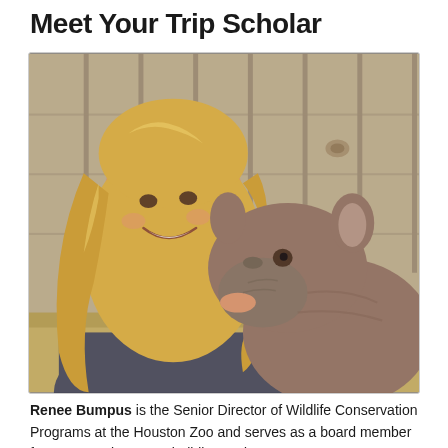Meet Your Trip Scholar
[Figure (photo): A smiling woman with long blonde hair leaning close to a baby rhinoceros. The rhino is nuzzling or licking her hand. Wooden fence boards visible in the background.]
Renee Bumpus is the Senior Director of Wildlife Conservation Programs at the Houston Zoo and serves as a board member for conservation peacebuilding and